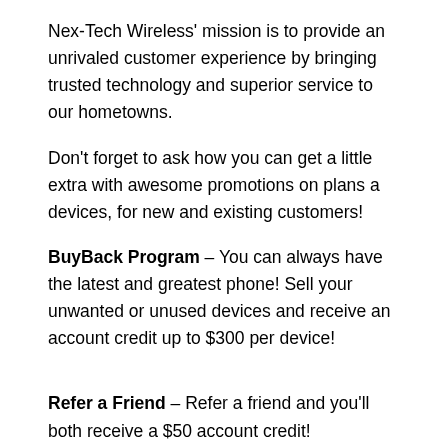Nex-Tech Wireless' mission is to provide an unrivaled customer experience by bringing trusted technology and superior service to our hometowns.
Don't forget to ask how you can get a little extra with awesome promotions on plans a devices, for new and existing customers!
BuyBack Program – You can always have the latest and greatest phone! Sell your unwanted or unused devices and receive an account credit up to $300 per device!
Refer a Friend – Refer a friend and you'll both receive a $50 account credit!